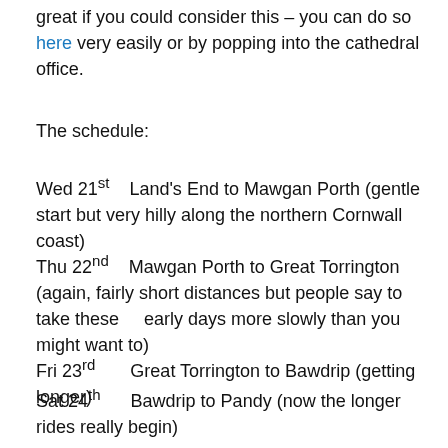great if you could consider this – you can do so here very easily or by popping into the cathedral office.
The schedule:
Wed 21st    Land's End to Mawgan Porth (gentle start but very hilly along the northern Cornwall coast)
Thu 22nd    Mawgan Porth to Great Torrington (again, fairly short distances but people say to take these    early days more slowly than you might want to)
Fri 23rd       Great Torrington to Bawdrip (getting longer)
Sat 24th      Bawdrip to Pandy (now the longer rides really begin)
Sun 25th    Pandy to Whittington
Mon 26th   Whittington to Burscough (today and tomorrow I'm carrying my stuff as Gill will travel back Monday and Jack travel out Tuesday)